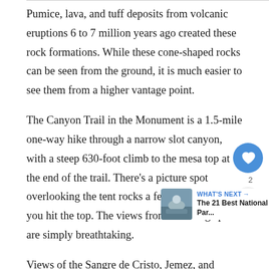Pumice, lava, and tuff deposits from volcanic eruptions 6 to 7 million years ago created these rock formations. While these cone-shaped rocks can be seen from the ground, it is much easier to see them from a higher vantage point.
The Canyon Trail in the Monument is a 1.5-mile one-way hike through a narrow slot canyon, with a steep 630-foot climb to the mesa top at the end of the trail. There's a picture spot overlooking the tent rocks a few yards before you hit the top. The views from the vantage point are simply breathtaking.
Views of the Sangre de Cristo, Jemez, and Mountains, as well as the Rio Grande Valley, are
[Figure (photo): Small thumbnail photo of a national park landscape, part of a 'What's Next' widget showing The 21 Best National Parks]